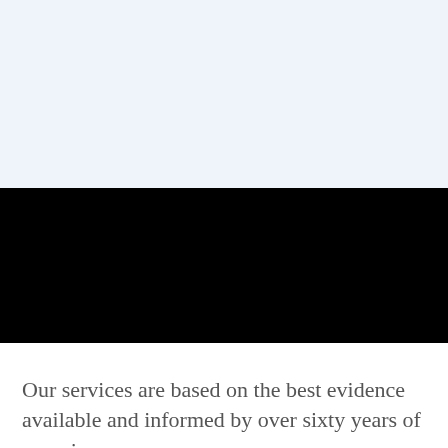[Figure (photo): Light blue banner area at top of page, appears to be part of a website or brochure header]
[Figure (photo): Large black rectangular area, likely an image placeholder or video embed area]
+
Our services are based on the best evidence available and informed by over sixty years of experience.